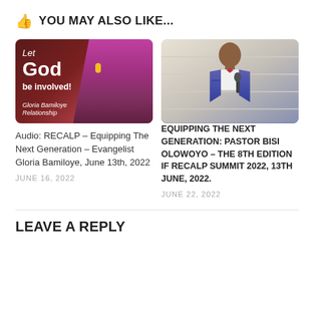👍 YOU MAY ALSO LIKE...
[Figure (photo): Thumbnail image with dark red background showing text 'Let God be involved!' and 'Gloria Bamiloye Relationship', with a woman singing into a yellow microphone on the right side]
[Figure (photo): Photo of a man in a purple suit with a red bow tie speaking into a microphone, standing in front of a light-colored brick wall]
Audio: RECALP – Equipping The Next Generation – Evangelist Gloria Bamiloye, June 13th, 2022
JUNE 16, 2022
EQUIPPING THE NEXT GENERATION: PASTOR BISI OLOWOYO – THE 8TH EDITION IF RECALP SUMMIT 2022, 13TH JUNE, 2022.
JUNE 22, 2022
LEAVE A REPLY